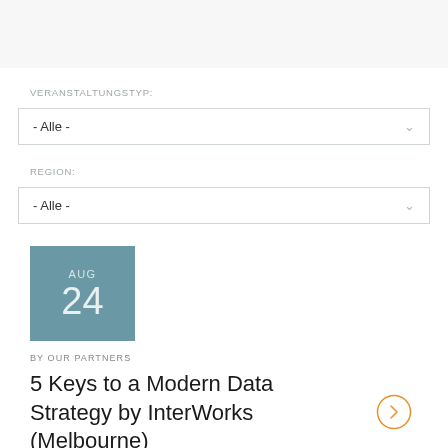VERANSTALTUNGSTYP:
- Alle -
REGION:
- Alle -
[Figure (infographic): Date badge showing AUG 24 in teal/slate blue color]
BY OUR PARTNERS
5 Keys to a Modern Data Strategy by InterWorks (Melbourne)